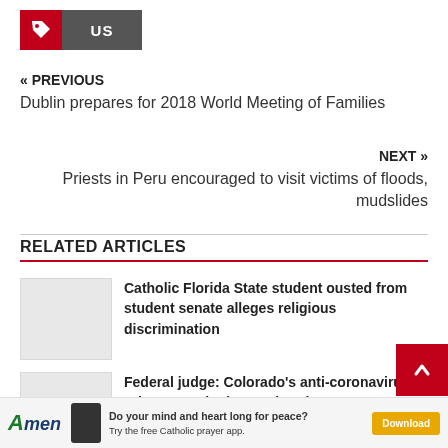[Figure (logo): Red tag icon and grey US button]
« PREVIOUS
Dublin prepares for 2018 World Meeting of Families
NEXT »
Priests in Peru encouraged to visit victims of floods, mudslides
RELATED ARTICLES
Catholic Florida State student ousted from student senate alleges religious discrimination
Federal judge: Colorado's anti-coronavirus rules can't single out churches
[Figure (other): Amen app advertisement banner with download button]